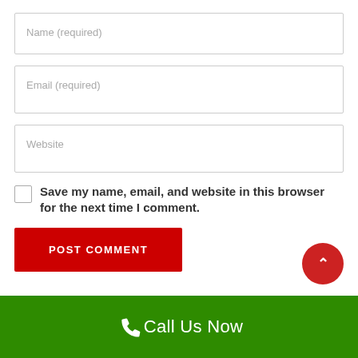Name (required)
Email (required)
Website
Save my name, email, and website in this browser for the next time I comment.
POST COMMENT
Call Us Now